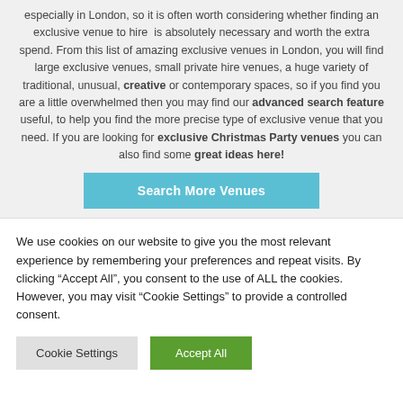especially in London, so it is often worth considering whether finding an exclusive venue to hire is absolutely necessary and worth the extra spend. From this list of amazing exclusive venues in London, you will find large exclusive venues, small private hire venues, a huge variety of traditional, unusual, creative or contemporary spaces, so if you find you are a little overwhelmed then you may find our advanced search feature useful, to help you find the more precise type of exclusive venue that you need. If you are looking for exclusive Christmas Party venues you can also find some great ideas here!
[Figure (other): Teal/cyan button labeled 'Search More Venues']
We use cookies on our website to give you the most relevant experience by remembering your preferences and repeat visits. By clicking "Accept All", you consent to the use of ALL the cookies. However, you may visit "Cookie Settings" to provide a controlled consent.